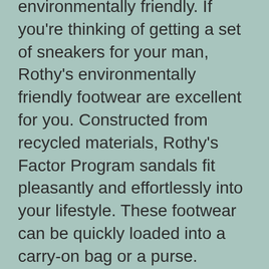environmentally friendly. If you're thinking of getting a set of sneakers for your man, Rothy's environmentally friendly footwear are excellent for you. Constructed from recycled materials, Rothy's Factor Program sandals fit pleasantly and effortlessly into your lifestyle. These footwear can be quickly loaded into a carry-on bag or a purse.
Bearaby.
If you intend to give a gift that's eco-friendly and also comfortable for your baby, think about giving a Bearaby covering. These blankets are made from all-natural fibers that are soft in all